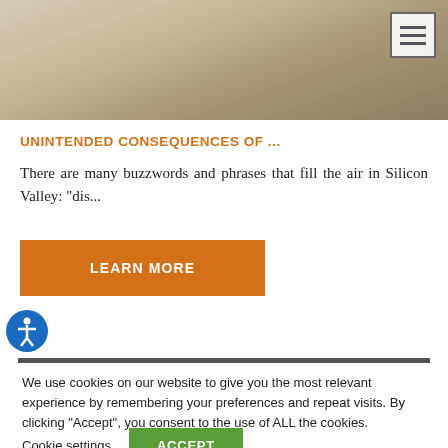[Figure (photo): Background image of people shaking hands or working, shown partially at top of page with beige/warm tones]
UNINTENDED CONSEQUENCES OF ...
There are many buzzwords and phrases that fill the air in Silicon Valley: "dis...
[Figure (other): Orange 'LEARN MORE' button]
We use cookies on our website to give you the most relevant experience by remembering your preferences and repeat visits. By clicking "Accept", you consent to the use of ALL the cookies.